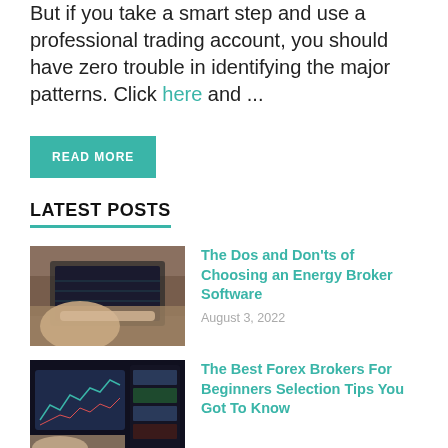But if you take a smart step and use a professional trading account, you should have zero trouble in identifying the major patterns. Click here and ...
READ MORE
LATEST POSTS
[Figure (photo): Person typing on laptop at wooden desk, viewed from above]
The Dos and Don'ts of Choosing an Energy Broker Software
August 3, 2022
[Figure (photo): Person viewing forex trading charts on tablet and computer screens]
The Best Forex Brokers For Beginners Selection Tips You Got To Know